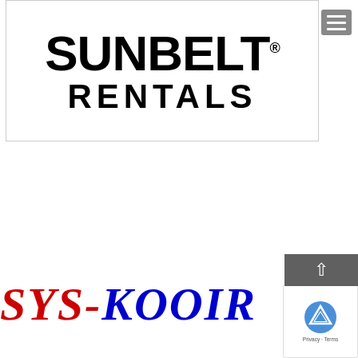[Figure (logo): Sunbelt Rentals logo — bold black text 'SUNBELT®' on top line and 'RENTALS' on second line, inside a white bordered box. A hamburger menu icon is visible in the top right corner outside the box.]
[Figure (logo): SYS-KOOL logo — 'SYS-' in red bold italic serif font and 'KOOL' in blue bold italic serif font, partially cut off on the right. A reCAPTCHA badge overlaps the bottom right.]